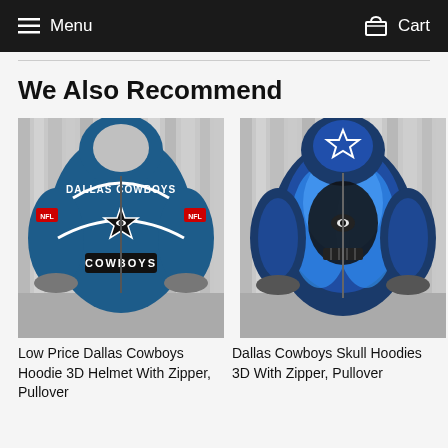Menu  Cart
We Also Recommend
[Figure (photo): Dallas Cowboys navy blue hoodie 3D with helmet design, zipper style, shown from front against wood background]
Low Price Dallas Cowboys Hoodie 3D Helmet With Zipper, Pullover
[Figure (photo): Dallas Cowboys skull hoodies 3D with blue flame/smoke design and Cowboys star logo, zipper style, shown from front against wood background]
Dallas Cowboys Skull Hoodies 3D With Zipper, Pullover